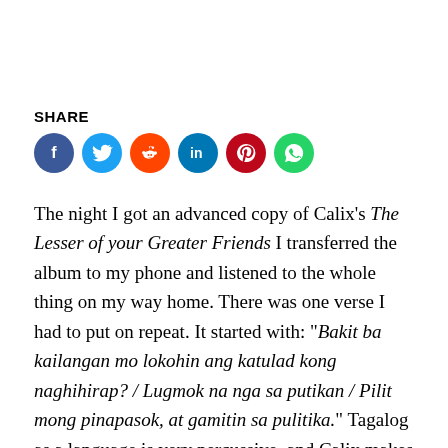SHARE
[Figure (infographic): Social media share icons: Facebook (blue), Twitter (light blue), Reddit (orange), LinkedIn (dark blue), Pinterest (red), WhatsApp (green)]
The night I got an advanced copy of Calix's The Lesser of your Greater Friends I transferred the album to my phone and listened to the whole thing on my way home. There was one verse I had to put on repeat. It started with: “Bakit ba kailangan mo lokohin ang katulad kong naghihirap? / Lugmok na nga sa putikan / Pilit mong pinapasok, at gamitin sa pulitika.” Tagalog as a language is very percussive, and Calix makes this most apparent as his voice pierces the whole beat. The lyrics don’t come at